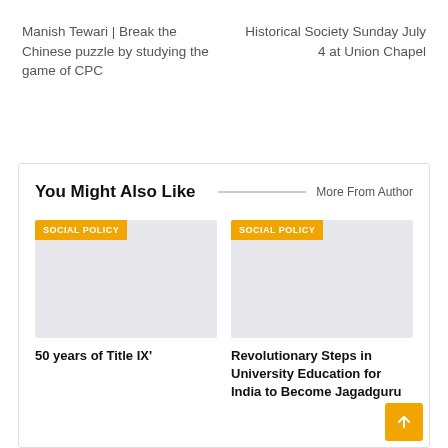Manish Tewari | Break the Chinese puzzle by studying the game of CPC
Historical Society Sunday July 4 at Union Chapel
You Might Also Like
More From Author
[Figure (screenshot): Article card image with SOCIAL POLICY tag, gray placeholder image]
SOCIAL POLICY
50 years of Title IX'
[Figure (screenshot): Article card image with SOCIAL POLICY tag, gray placeholder image]
SOCIAL POLICY
Revolutionary Steps in University Education for India to Become Jagadguru